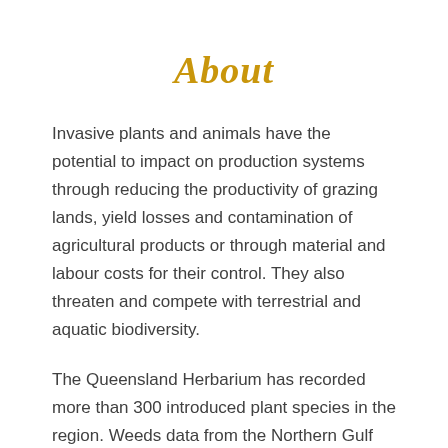About
Invasive plants and animals have the potential to impact on production systems through reducing the productivity of grazing lands, yield losses and contamination of agricultural products or through material and labour costs for their control. They also threaten and compete with terrestrial and aquatic biodiversity.
The Queensland Herbarium has recorded more than 300 introduced plant species in the region. Weeds data from the Northern Gulf has identified 56 weeds of importance in the Northern Gulf Region of which 13 were classed as high priority, including bellyache bush, gamba grass, giants rats tail grass, grader grass, hymenachne